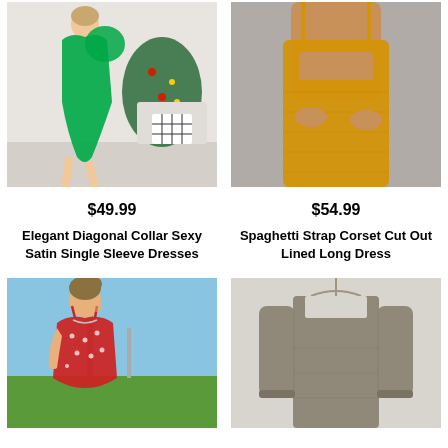[Figure (photo): Woman wearing elegant green satin diagonal collar single sleeve dress, posing in front of a Christmas tree decorated room]
[Figure (photo): Woman wearing yellow/golden spaghetti strap corset cut out lined long dress, close-up body shot]
$49.99
$54.99
Elegant Diagonal Collar Sexy Satin Single Sleeve Dresses
Spaghetti Strap Corset Cut Out Lined Long Dress
[Figure (photo): Woman wearing red polka dot spaghetti strap dress outdoors in a green field]
[Figure (photo): Khaki/taupe long sleeve square neck fitted mini dress on a mannequin hanger]